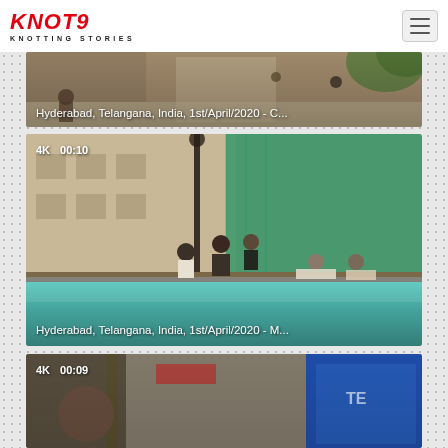[Figure (logo): KNOT9 KNOTTING STORIES logo in red italic bold text]
[Figure (screenshot): Hamburger menu button top right]
[Figure (photo): Video thumbnail: Hyderabad crowd scene, partially visible at top. Caption: Hyderabad, Telangana, India, 1st/April/2020 - C...]
Hyderabad, Telangana, India, 1st/April/2020 - C...
[Figure (photo): Video thumbnail 4K 00:10: Hyderabad water tank scene with people and green net. Caption: Hyderabad, Telangana, India, 1st/April/2020 - M...]
Hyderabad, Telangana, India, 1st/April/2020 - M...
[Figure (photo): Video thumbnail 4K 00:09: Street scene partially visible at bottom]